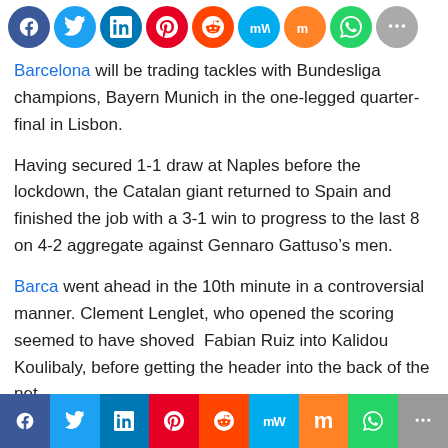[Figure (other): Row of social media sharing icons: Facebook, Twitter, LinkedIn, Pinterest, Reddit, MeWe, Mix, WhatsApp, More]
Barcelona will be trading tackles with Bundesliga champions, Bayern Munich in the one-legged quarter-final in Lisbon.
Having secured 1-1 draw at Naples before the lockdown, the Catalan giant returned to Spain and finished the job with a 3-1 win to progress to the last 8 on 4-2 aggregate against Gennaro Gattuso’s men.
Barca went ahead in the 10th minute in a controversial manner. Clement Lenglet, who opened the scoring seemed to have shoved Fabian Ruiz into Kalidou Koulibaly, before getting the header into the back of the net.
[Figure (photo): Partial image of a football/soccer scene with a reddish-purple ground texture visible at the bottom of the page]
[Figure (other): Bottom social media sharing bar with colored sections: Facebook (dark blue), Twitter (light blue), LinkedIn (blue), Pinterest (red), Reddit (orange), MeWe (cyan), Mix (orange), WhatsApp (green), More (grey)]